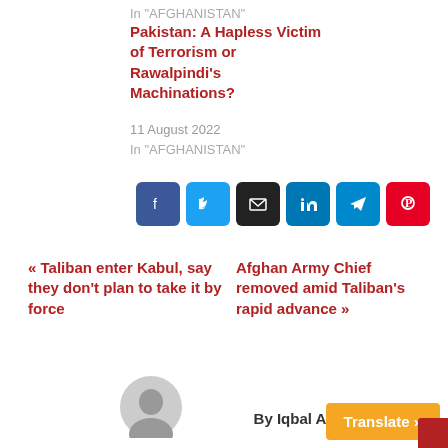In "AFGHANISTAN"
Pakistan: A Hapless Victim of Terrorism or Rawalpindi's Machinations?
11 August 2022
In "AFGHANISTAN"
[Figure (infographic): Row of six social share buttons: Facebook (dark blue), Twitter (light blue), Email (black), LinkedIn (blue), Telegram (blue), Pinterest (red)]
« Taliban enter Kabul, say they don't plan to take it by force
Afghan Army Chief removed amid Taliban's rapid advance »
By Iqbal Ahmed
[Figure (other): Orange Translate button and red corner decoration]
[Figure (photo): Gray avatar/profile circle placeholder]